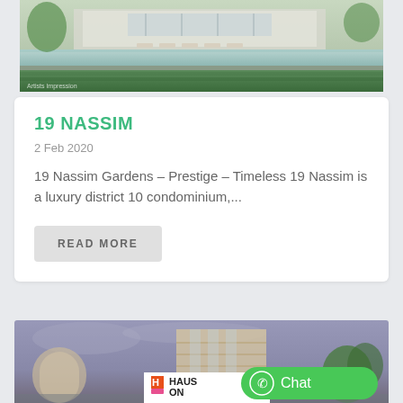[Figure (photo): Aerial/exterior rendering of 19 Nassim luxury condominium with pool and greenery]
19 NASSIM
2 Feb 2020
19 Nassim Gardens – Prestige – Timeless 19 Nassim is a luxury district 10 condominium,...
READ MORE
[Figure (photo): Exterior rendering of Haus On building with WhatsApp chat button overlay]